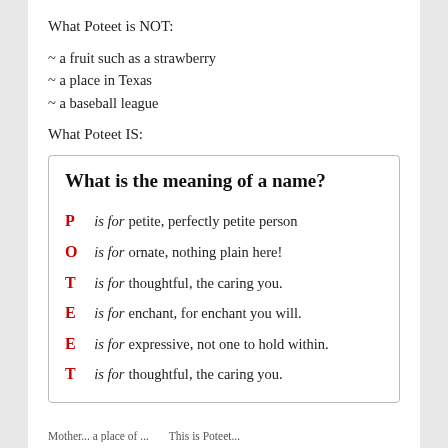What Poteet is NOT:
~ a fruit such as a strawberry
~ a place in Texas
~ a baseball league
What Poteet IS:
What is the meaning of a name?
P is for petite, perfectly petite person
O is for ornate, nothing plain here!
T is for thoughtful, the caring you.
E is for enchant, for enchant you will.
E is for expressive, not one to hold within.
T is for thoughtful, the caring you.
Mother... a place of ... This is Poteet...